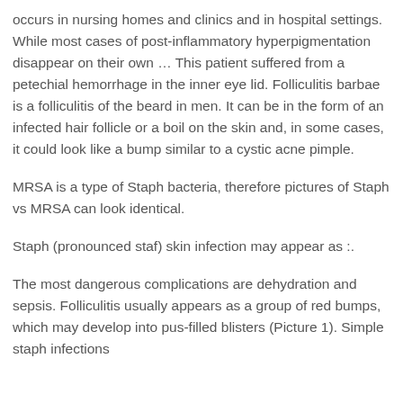occurs in nursing homes and clinics and in hospital settings. While most cases of post-inflammatory hyperpigmentation disappear on their own … This patient suffered from a petechial hemorrhage in the inner eye lid. Folliculitis barbae is a folliculitis of the beard in men. It can be in the form of an infected hair follicle or a boil on the skin and, in some cases, it could look like a bump similar to a cystic acne pimple.
MRSA is a type of Staph bacteria, therefore pictures of Staph vs MRSA can look identical.
Staph (pronounced staf) skin infection may appear as :.
The most dangerous complications are dehydration and sepsis. Folliculitis usually appears as a group of red bumps, which may develop into pus-filled blisters (Picture 1). Simple staph infections